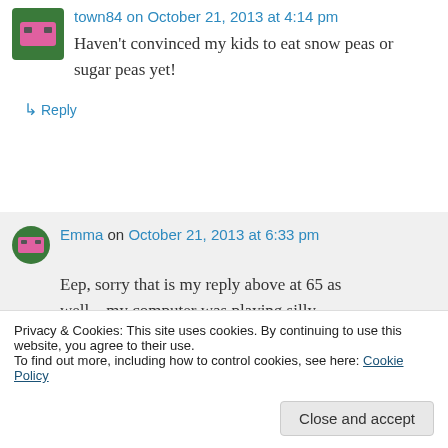town84 on October 21, 2013 at 4:14 pm
Haven't convinced my kids to eat snow peas or sugar peas yet!
↳ Reply
Emma on October 21, 2013 at 6:33 pm
Eep, sorry that is my reply above at 65 as well – my computer was playing silly buggers and said I hadn't posted when
Privacy & Cookies: This site uses cookies. By continuing to use this website, you agree to their use.
To find out more, including how to control cookies, see here: Cookie Policy
Close and accept